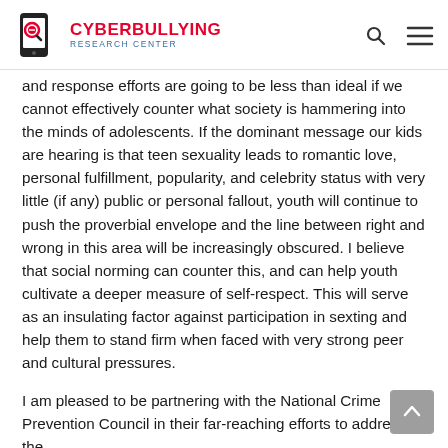Cyberbullying Research Center
and response efforts are going to be less than ideal if we cannot effectively counter what society is hammering into the minds of adolescents. If the dominant message our kids are hearing is that teen sexuality leads to romantic love, personal fulfillment, popularity, and celebrity status with very little (if any) public or personal fallout, youth will continue to push the proverbial envelope and the line between right and wrong in this area will be increasingly obscured. I believe that social norming can counter this, and can help youth cultivate a deeper measure of self-respect. This will serve as an insulating factor against participation in sexting and help them to stand firm when faced with very strong peer and cultural pressures.
I am pleased to be partnering with the National Crime Prevention Council in their far-reaching efforts to address the